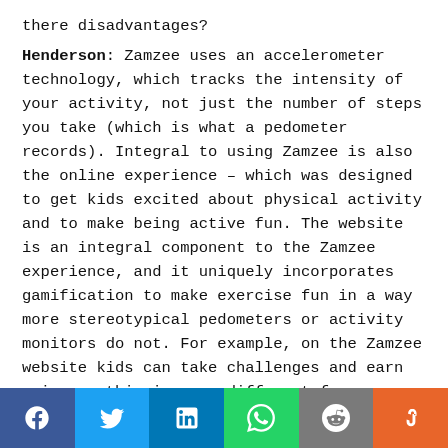there disadvantages?
Henderson: Zamzee uses an accelerometer technology, which tracks the intensity of your activity, not just the number of steps you take (which is what a pedometer records). Integral to using Zamzee is also the online experience – which was designed to get kids excited about physical activity and to make being active fun. The website is an integral component to the Zamzee experience, and it uniquely incorporates gamification to make exercise fun in a way more stereotypical pedometers or activity monitors do not. For example, on the Zamzee website kids can take challenges and earn prizes – this is very different from, say, counting calories or working towards a weight loss goal. It is more fun. Of course, the
Facebook Twitter LinkedIn WhatsApp Reddit StumbleUpon